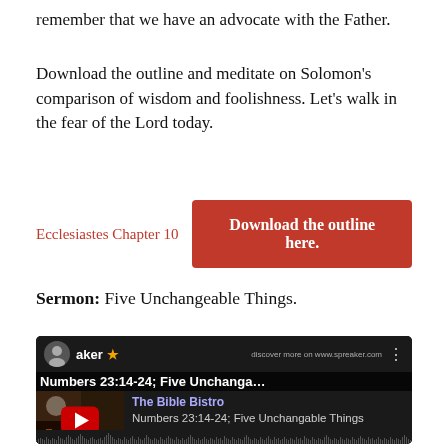remember that we have an advocate with the Father.
Download the outline and meditate on Solomon's comparison of wisdom and foolishness. Let's walk in the fear of the Lord today.
Ecclesiastes Chapter 10   Download the outline here.
Sermon: Five Unchangeable Things.
[Figure (screenshot): Spreaker/YouTube embedded video player showing 'Numbers 23:14-24; Five Unchanga...' by The Bible Bistro, with YouTube play button overlay and audio waveform at bottom]